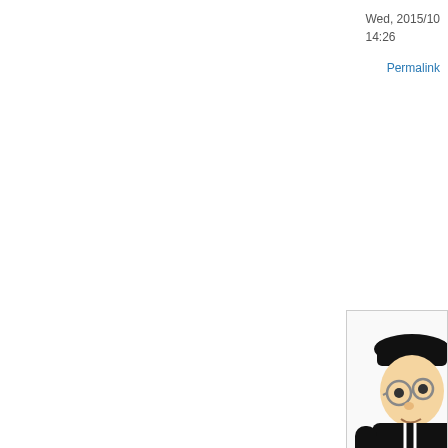Wed, 2015/10/
14:26
Permalink
[Figure (illustration): South Park style avatar of a character in black outfit with glasses, partially cropped at right edge]
cy8aer
Wed, 201...
16:01
Permalink
[Figure (illustration): Partial avatar image at bottom right, appears to be a blue/teal colored character, partially cropped]